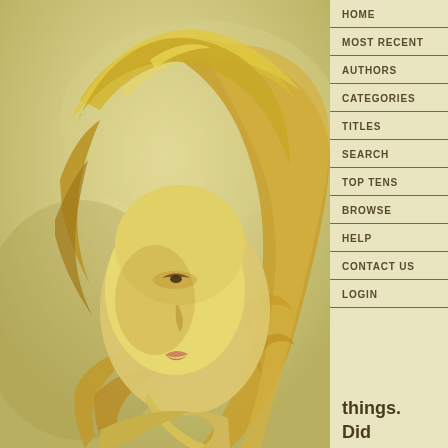[Figure (illustration): Digital illustration of a woman with long flowing golden/blonde hair, face in profile looking left, warm golden-yellow color palette, painterly style]
HOME
MOST RECENT
AUTHORS
CATEGORIES
TITLES
SEARCH
TOP TENS
BROWSE
HELP
CONTACT US
LOGIN
things. Did